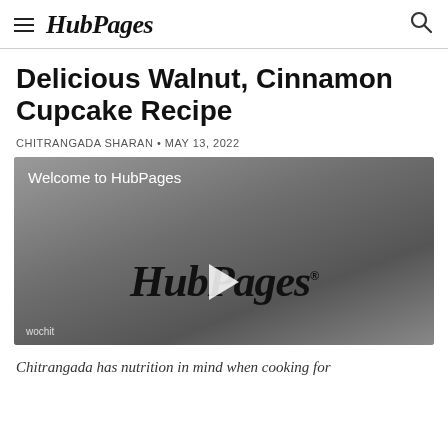HubPages
Delicious Walnut, Cinnamon Cupcake Recipe
CHITRANGADA SHARAN • MAY 13, 2022
[Figure (screenshot): Video player showing HubPages welcome screen with HubPages logo and play button. 'Welcome to HubPages' text at top left. 'wochit' watermark at bottom left.]
Chitrangada has nutrition in mind when cooking for